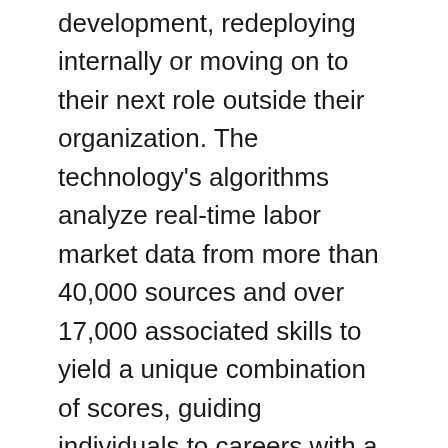development, redeploying internally or moving on to their next role outside their organization. The technology's algorithms analyze real-time labor market data from more than 40,000 sources and over 17,000 associated skills to yield a unique combination of scores, guiding individuals to careers with a bright market outlook and a strong skills fit.
On the customer service side, earlier this year, RiseSmart announced an industry-leading Net Promoter Score (NPS) of 86 for its high level of customer service and support. RiseSmart's NPS is derived from an annual